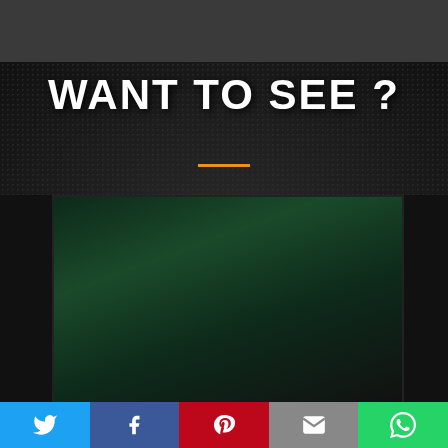PP Watchrs — navigation header with logo and hamburger menu
[Figure (illustration): Dark dotted background with large white bold text 'WANT TO SEE?' in the upper portion, an orange horizontal dividing line beneath, and a dark panel/image area below showing a dark green glowing background]
[Figure (other): Social sharing bar with five buttons: Twitter (blue bird icon), Facebook (blue f icon), Pinterest (red P icon), Email (grey envelope icon), WhatsApp (green phone icon)]